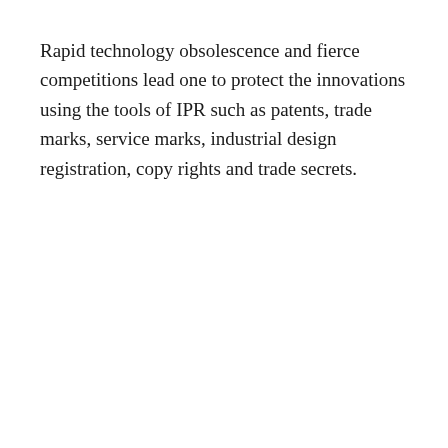Rapid technology obsolescence and fierce competitions lead one to protect the innovations using the tools of IPR such as patents, trade marks, service marks, industrial design registration, copy rights and trade secrets.